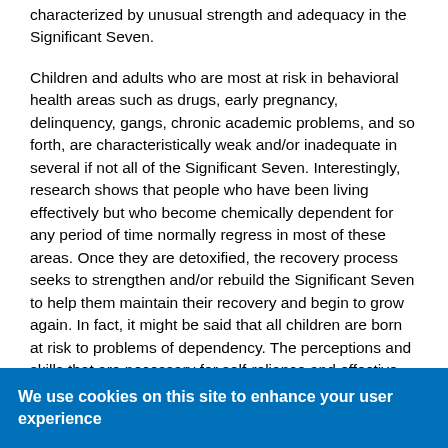characterized by unusual strength and adequacy in the Significant Seven.
Children and adults who are most at risk in behavioral health areas such as drugs, early pregnancy, delinquency, gangs, chronic academic problems, and so forth, are characteristically weak and/or inadequate in several if not all of the Significant Seven. Interestingly, research shows that people who have been living effectively but who become chemically dependent for any period of time normally regress in most of these areas. Once they are detoxified, the recovery process seeks to strengthen and/or rebuild the Significant Seven to help them maintain their recovery and begin to grow again. In fact, it might be said that all children are born at risk to problems of dependency. The perceptions and skills that are necessary for self-reliance and effective living require development and maintenance.
We use cookies on this site to enhance your user experience